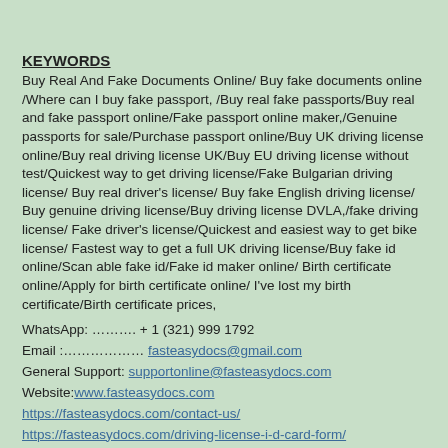KEYWORDS
Buy Real And Fake Documents Online/ Buy fake documents online /Where can I buy fake passport, /Buy real fake passports/Buy real and fake passport online/Fake passport online maker,/Genuine passports for sale/Purchase passport online/Buy UK driving license online/Buy real driving license UK/Buy EU driving license without test/Quickest way to get driving license/Fake Bulgarian driving license/ Buy real driver's license/ Buy fake English driving license/ Buy genuine driving license/Buy driving license DVLA,/fake driving license/ Fake driver's license/Quickest and easiest way to get bike license/ Fastest way to get a full UK driving license/Buy fake id online/Scan able fake id/Fake id maker online/ Birth certificate online/Apply for birth certificate online/ I've lost my birth certificate/Birth certificate prices,
WhatsApp: ………. + 1 (321) 999 1792
Email :……………… fasteasydocs@gmail.com
General Support: supportonline@fasteasydocs.com
Website: www.fasteasydocs.com
https://fasteasydocs.com/contact-us/
https://fasteasydocs.com/driving-license-i-d-card-form/
APPLY FOR REAL AND FAKE DOCUMENTS ONLINE
https://fasteasydocs.com/
APPLY FOR REAL AND FAKE DOCUMENTS ONLINE